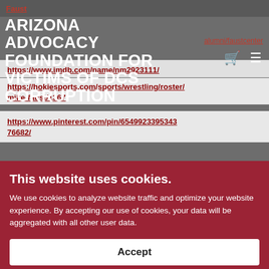Faust
ARIZONA ADVOCACY FOUNDATION FOR VICTIMS OF DCS CORRUPTION
alumni/faustcenter
https://www.imdb.com/name/nm2923111/
https://hokiesports.com/sports/wrestling/roster/mike-faust/1367
https://www.pinterest.com/pin/654992339534376682/
This website uses cookies.
We use cookies to analyze website traffic and optimize your website experience. By accepting our use of cookies, your data will be aggregated with all other user data.
Accept